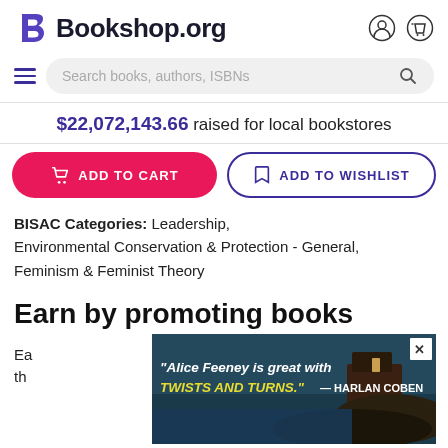Bookshop.org
Search books, authors, ISBNs
$22,072,143.66 raised for local bookstores
ADD TO CART
ADD TO WISHLIST
BISAC Categories: Leadership, Environmental Conservation & Protection - General, Feminism & Feminist Theory
Earn by promoting books
[Figure (screenshot): Advertisement overlay showing a dark coastal scene with text: "Alice Feeney is great with TWISTS AND TURNS." — HARLAN COBEN, with a close button (X) in top right corner.]